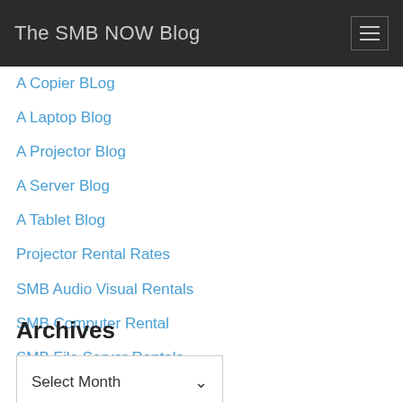The SMB NOW Blog
A Copier BLog
A Laptop Blog
A Projector Blog
A Server Blog
A Tablet Blog
Projector Rental Rates
SMB Audio Visual Rentals
SMB Computer Rental
SMB File Server Rentals
SMB Laptop Rentals
SMB Tablet Rentals
Archives
Select Month